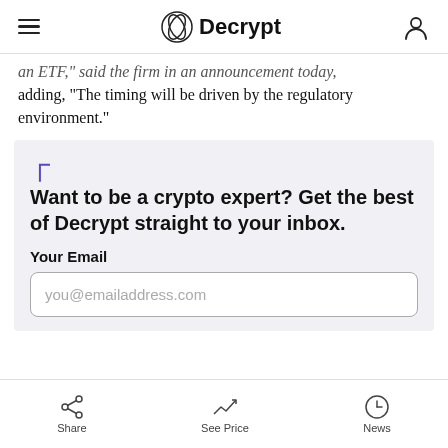Decrypt
an ETF," said the firm in an announcement today, adding, "The timing will be driven by the regulatory environment."
Want to be a crypto expert? Get the best of Decrypt straight to your inbox.
Your Email
you@emailaddress.com
Share  See Price  News